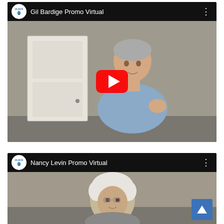[Figure (screenshot): YouTube video thumbnail for 'Gil Bardige Promo Virtual' showing an older man in a light blue shirt sitting in front of a white door, with a red YouTube play button overlay. IAJGS logo in top-left corner.]
[Figure (screenshot): YouTube video thumbnail for 'Nancy Levin Promo Virtual' showing a woman with curly white hair, partially visible. IAJGS logo in top-left corner. Blue scroll-up arrow button in the bottom-right.]